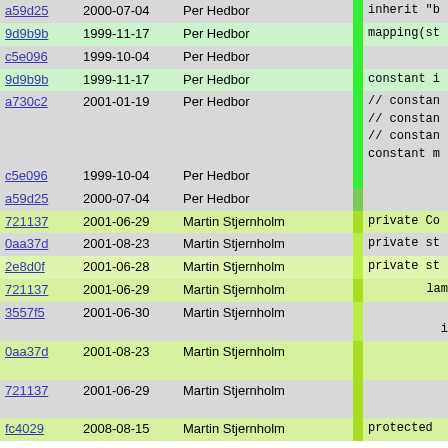| hash | date | author | bar | code |
| --- | --- | --- | --- | --- |
| a59d25 | 2000-07-04 | Per Hedbor |  | inherit "b |
| 9d9b9b | 1999-11-17 | Per Hedbor |  | mapping(st |
| c5e096 | 1999-10-04 | Per Hedbor |  |  |
| 9d9b9b | 1999-11-17 | Per Hedbor |  | constant i |
| a730c2 | 2001-01-19 | Per Hedbor |  | // constan
// constan
// constan
constant m |
| c5e096 | 1999-10-04 | Per Hedbor |  |  |
| a59d25 | 2000-07-04 | Per Hedbor |  |  |
| 721137 | 2001-06-29 | Martin Stjernholm |  | private Co |
| 0aa37d | 2001-08-23 | Martin Stjernholm |  | private st |
| 2e8d0f | 2001-06-28 | Martin Stjernholm |  | private st |
| 721137 | 2001-06-29 | Martin Stjernholm |  | lambda() |
| 3557f5 | 2001-06-30 | Martin Stjernholm |  | mixed
if (ar |
| 0aa37d | 2001-08-23 | Martin Stjernholm |  | [_my
retu |
| 721137 | 2001-06-29 | Martin Stjernholm |  | }
}(); |
| fc4029 | 2008-08-15 | Martin Stjernholm |  | protected |